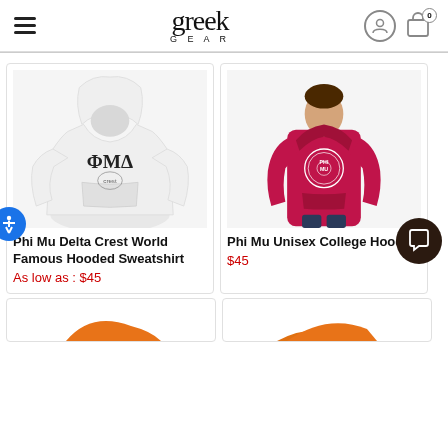greek GEAR — navigation header with hamburger menu, logo, user icon, and cart (0)
[Figure (photo): White hooded sweatshirt with Phi Mu Delta (ΦΜΔ) crest graphic on chest]
Phi Mu Delta Crest World Famous Hooded Sweatshirt
As low as : $45
[Figure (photo): Woman wearing pink/magenta hooded sweatshirt with Phi Mu circular logo]
Phi Mu Unisex College Hoodie
$45
[Figure (photo): Partial view of orange sweatshirt (left, bottom)]
[Figure (photo): Partial view of orange sweatshirt (right, bottom)]